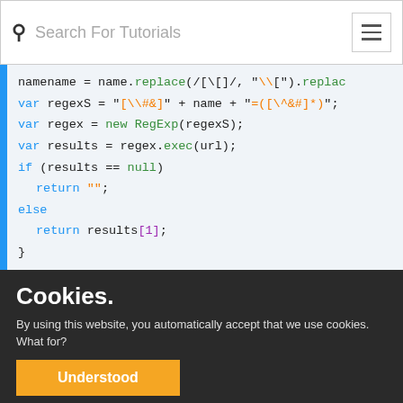Search For Tutorials
[Figure (screenshot): Code snippet showing JavaScript function with regex URL parameter extraction. Lines include: namename = name.replace(/[\[]/,"\\[").replace..., var regexS = "[\\#&]" + name + "=([^&#]*)";, var regex = new RegExp(regexS);, var results = regex.exec(url);, if (results == null), return "";, else, return results[1];, }]
Cookies.
By using this website, you automatically accept that we use cookies. What for?
Understood